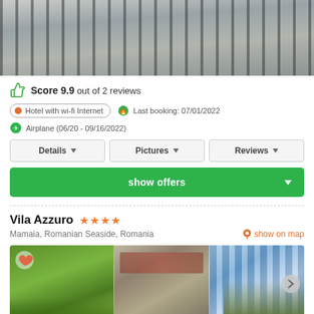[Figure (photo): Top photo of building exterior with metal fence/gate structure]
Score 9.9 out of 2 reviews
Hotel with wi-fi Internet   Last booking: 07/01/2022
Airplane (06/20 - 09/16/2022)
Details   Pictures   Reviews
show offers
Vila Azzuro ★★★★
Mamaia, Romanian Seaside, Romania   show on map
[Figure (photo): Hotel exterior photo showing greenery and building facade, three panel view]